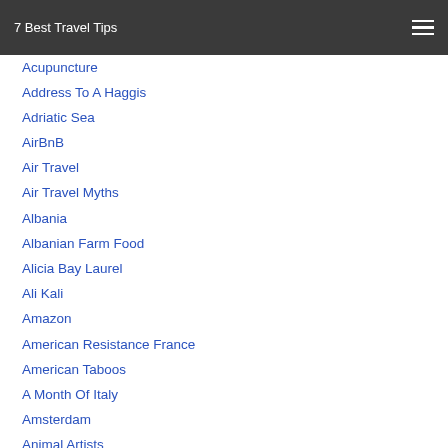7 Best Travel Tips
Acupuncture
Address To A Haggis
Adriatic Sea
AirBnB
Air Travel
Air Travel Myths
Albania
Albanian Farm Food
Alicia Bay Laurel
Ali Kali
Amazon
American Resistance France
American Taboos
A Month Of Italy
Amsterdam
Animal Artists
Anthony Hopkins